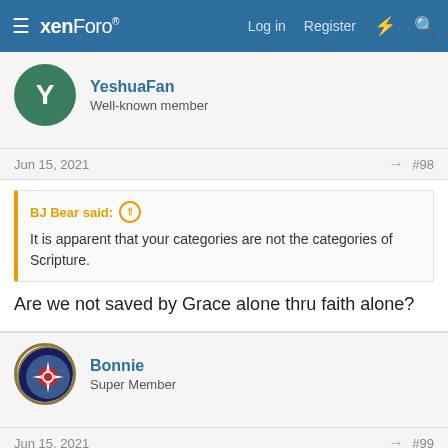xenForo — Log in  Register
YeshuaFan
Well-known member
Jun 15, 2021  #98
BJ Bear said: ↑
It is apparent that your categories are not the categories of Scripture.
Are we not saved by Grace alone thru faith alone?
Bonnie
Super Member
Jun 15, 2021  #99
YeshuaFan said: ↑
Are we not saved by Grace alone thru faith alone?